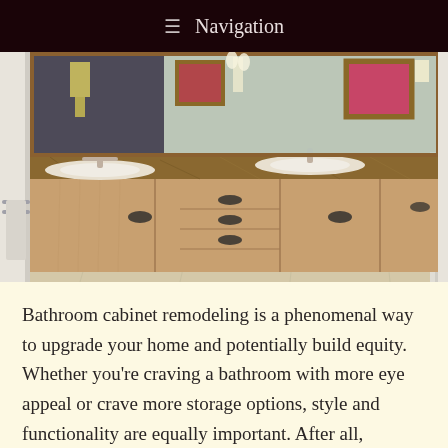Navigation
[Figure (photo): Interior bathroom with wooden vanity cabinets, granite countertop with two sinks, large mirror, wall sconces, framed artwork, and light tile flooring]
Bathroom cabinet remodeling is a phenomenal way to upgrade your home and potentially build equity. Whether you're craving a bathroom with more eye appeal or crave more storage options, style and functionality are equally important. After all, everyone wants a home that looks good, but it’s also vital that a home functions…